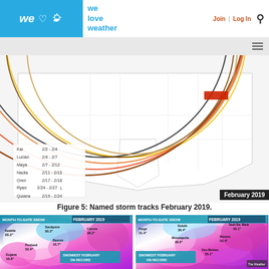we love weather | Join | Log In
[Figure (map): Named storm tracks February 2019 map of the United States showing overlapping colored circular arc paths for storms Kai, Lucian, Maya, Nadia, Oren, Petra, Quiana, Ryan with a legend and a red rectangle marker in the northeast. Labeled February 2019 in black box.]
Figure 5: Named storm tracks February 2019.
[Figure (map): Month-to-date snow map for the western US, February 2019, showing snowfall totals: Seattle 20.2", Sandpoint 50.2", Portland 52.4", Eugene 18.8", Banrno 16.7", Canroe 28.2". Banner: Snowiest February on Record.]
[Figure (map): Month-to-date snow map for the northern/central US, February 2019, showing snowfall totals: Fargo 21.4", Duluth 36.4", Sault Ste. Marie 45.1", Minneapolis 39.0", Monton 52.4", Des Moines 25.1". Banner: Snowiest February on Record.]